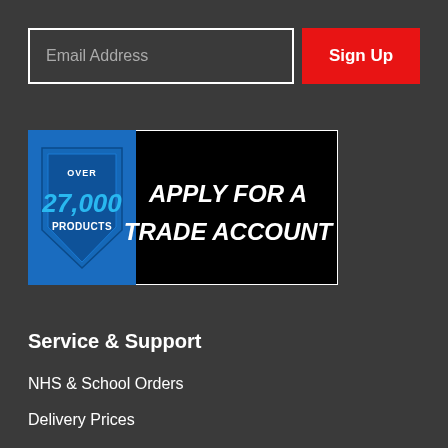Email Address
Sign Up
[Figure (infographic): Banner ad with blue shield showing 'OVER 27,000 PRODUCTS' and black background with bold white text 'APPLY FOR A TRADE ACCOUNT']
Service & Support
NHS & School Orders
Delivery Prices
Bulk Quotation
Trade Account
Store Collection